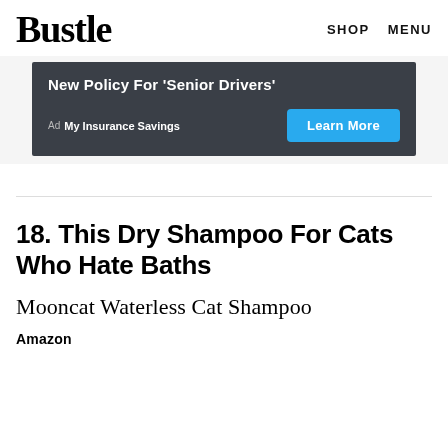Bustle   SHOP   MENU
[Figure (screenshot): Advertisement banner with dark gray background. Text: 'New Policy For \'Senior Drivers\''. Ad label 'My Insurance Savings' and a blue 'Learn More' button.]
18. This Dry Shampoo For Cats Who Hate Baths
Mooncat Waterless Cat Shampoo
Amazon